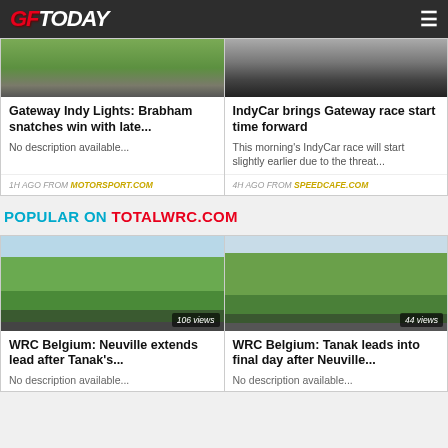GFToday
[Figure (screenshot): Partially visible racing image (grass/track scene)]
Gateway Indy Lights: Brabham snatches win with late...
No description available...
[Figure (screenshot): Partially visible race car image]
IndyCar brings Gateway race start time forward
This morning's IndyCar race will start slightly earlier due to the threat...
1H AGO FROM MOTORSPORT.COM
4H AGO FROM SPEEDCAFE.COM
POPULAR ON TOTALWRC.COM
[Figure (photo): WRC rally car driving through corn/grass fields, 106 views badge]
WRC Belgium: Neuville extends lead after Tanak's...
No description available...
[Figure (photo): WRC rally car on road with trees, 44 views badge]
WRC Belgium: Tanak leads into final day after Neuville...
No description available...